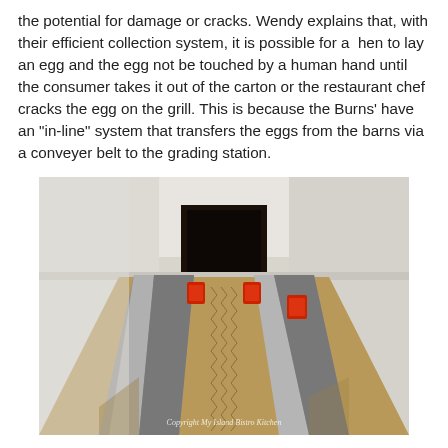the potential for damage or cracks. Wendy explains that, with their efficient collection system, it is possible for a hen to lay an egg and the egg not be touched by a human hand until the consumer takes it out of the carton or the restaurant chef cracks the egg on the grill. This is because the Burns' have an "in-line" system that transfers the eggs from the barns via a conveyer belt to the grading station.
[Figure (photo): Interior photo of an egg conveyer belt system inside a barn, showing long metal rails with red bumpers on each side of a moving belt, leading into a dark tunnel opening in the white wall. Copyright watermark reads 'Copyright My Island Bistro Kitchen'.]